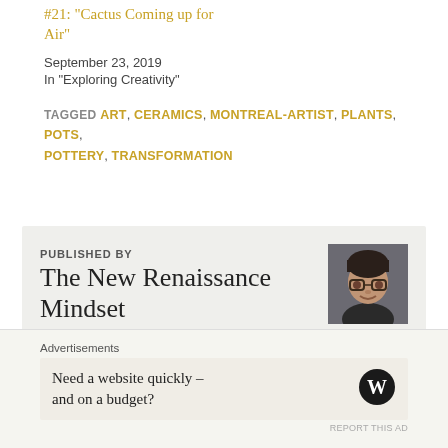#21: "Cactus Coming up for Air"
September 23, 2019
In "Exploring Creativity"
TAGGED ART, CERAMICS, MONTREAL-ARTIST, PLANTS, POTS, POTTERY, TRANSFORMATION
PUBLISHED BY
The New Renaissance Mindset
[Figure (photo): Profile photo of a young man with glasses smiling, dark background]
Artist, Teacher, Life-Long Learner: Curiosity fuels my
Advertisements
Need a website quickly – and on a budget?